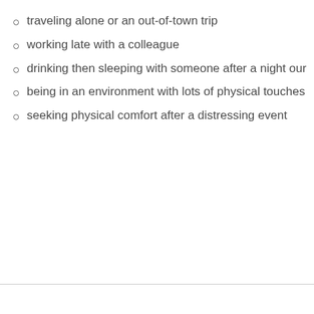traveling alone or an out-of-town trip
working late with a colleague
drinking then sleeping with someone after a night our
being in an environment with lots of physical touches
seeking physical comfort after a distressing event